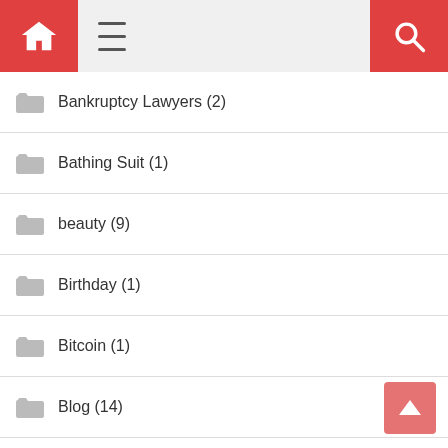Home menu search navigation bar
Bankruptcy Lawyers (2)
Bathing Suit (1)
beauty (9)
Birthday (1)
Bitcoin (1)
Blog (14)
Art (1)
Lifestyle (6)
Trends (5)
Boats (1)